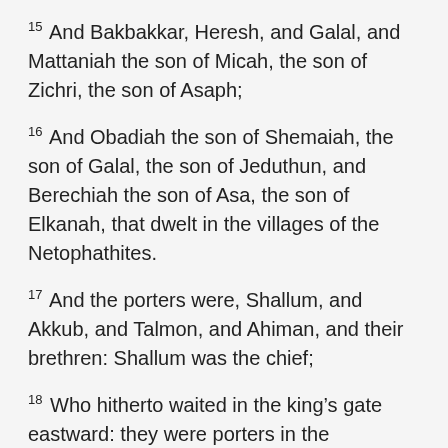15 And Bakbakkar, Heresh, and Galal, and Mattaniah the son of Micah, the son of Zichri, the son of Asaph;
16 And Obadiah the son of Shemaiah, the son of Galal, the son of Jeduthun, and Berechiah the son of Asa, the son of Elkanah, that dwelt in the villages of the Netophathites.
17 And the porters were, Shallum, and Akkub, and Talmon, and Ahiman, and their brethren: Shallum was the chief;
18 Who hitherto waited in the king’s gate eastward: they were porters in the companies of the children of Levi.
19 And Shallum the son of Kore, the son of Ebiasaph,